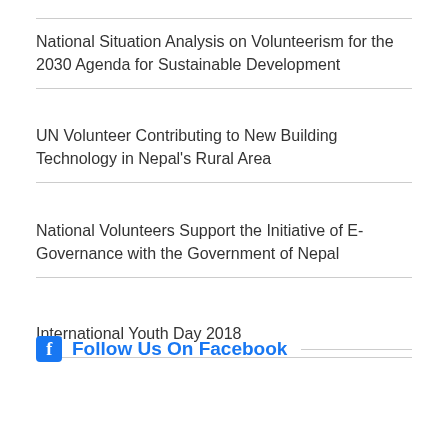National Situation Analysis on Volunteerism for the 2030 Agenda for Sustainable Development
UN Volunteer Contributing to New Building Technology in Nepal's Rural Area
National Volunteers Support the Initiative of E-Governance with the Government of Nepal
International Youth Day 2018
Follow Us On Facebook